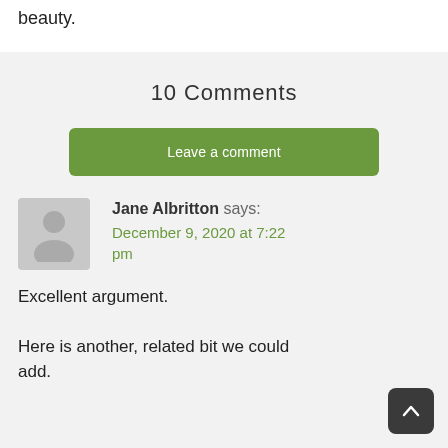beauty.
10  Comments
Leave a comment
Jane Albritton says:
December 9, 2020 at 7:22 pm
Excellent argument.
Here is another, related bit we could add.